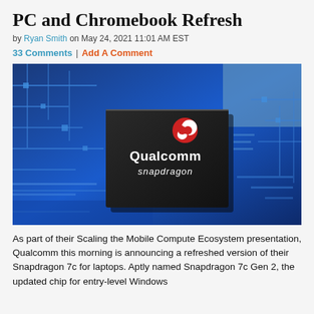PC and Chromebook Refresh
by Ryan Smith on May 24, 2021 11:01 AM EST
33 Comments | Add A Comment
[Figure (photo): Close-up photograph of a Qualcomm Snapdragon chip (black square) mounted on a vivid blue circuit board with intricate patterns and traces.]
As part of their Scaling the Mobile Compute Ecosystem presentation, Qualcomm this morning is announcing a refreshed version of their Snapdragon 7c for laptops. Aptly named Snapdragon 7c Gen 2, the updated chip for entry-level Windows